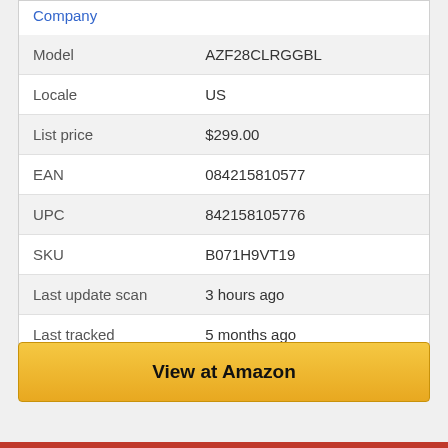|  |  |
| --- | --- |
| Model | AZF28CLRGGBL |
| Locale | US |
| List price | $299.00 |
| EAN | 084215810577 |
| UPC | 842158105776 |
| SKU | B071H9VT19 |
| Last update scan | 3 hours ago |
| Last tracked | 5 months ago |
View at Amazon